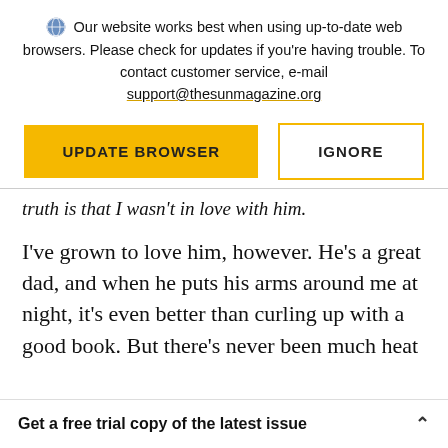Our website works best when using up-to-date web browsers. Please check for updates if you're having trouble. To contact customer service, e-mail support@thesunmagazine.org
[Figure (other): Two buttons: a yellow filled button labeled UPDATE BROWSER and a yellow-outlined white button labeled IGNORE]
truth is that I wasn't in love with him.
I've grown to love him, however. He's a great dad, and when he puts his arms around me at night, it's even better than curling up with a good book. But there's never been much heat
Get a free trial copy of the latest issue